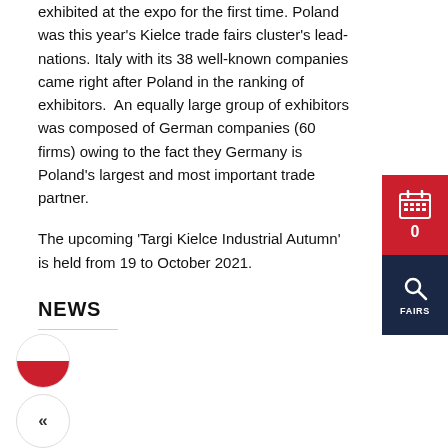exhibited at the expo for the first time. Poland was this year's Kielce trade fairs cluster's lead-nations. Italy with its 38 well-known companies came right after Poland in the ranking of exhibitors.  An equally large group of exhibitors was composed of German companies (60 firms) owing to the fact they Germany is Poland's largest and most important trade partner.
The upcoming 'Targi Kielce Industrial Autumn' is held from 19 to October 2021.
[Figure (infographic): Red sidebar widget with calendar icon and number 0, and dark navy sidebar widget with magnifying glass icon and label FAIRS]
NEWS
[Figure (illustration): Polish flag circular badge (white top half, red bottom half)]
[Figure (illustration): Circular back/chevron left button with double left arrow]